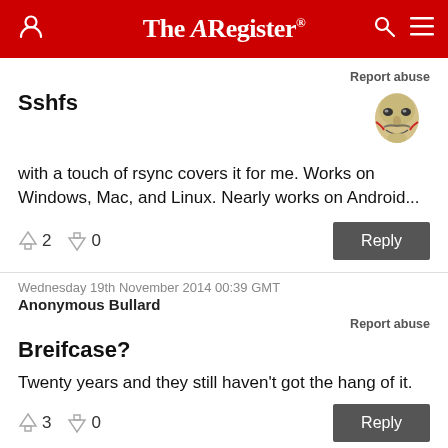The Register
Report abuse
Sshfs
with a touch of rsync covers it for me. Works on Windows, Mac, and Linux. Nearly works on Android...
↑2  ↓0   Reply
Wednesday 19th November 2014 00:39 GMT
Anonymous Bullard
Report abuse
Breifcase?
Twenty years and they still haven't got the hang of it.
↑3  ↓0   Reply
Wednesday 19th November 2014 03:06 GMT